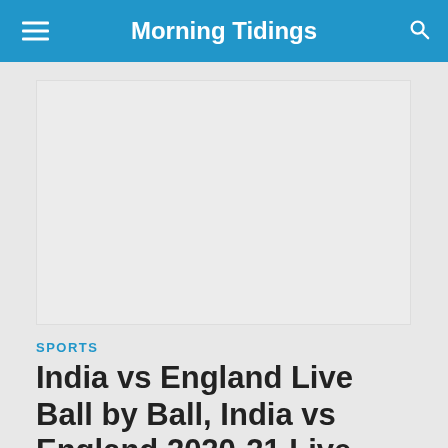Morning Tidings
[Figure (photo): Large grey placeholder image for article banner photo]
SPORTS
India vs England Live Ball by Ball, India vs England 2020-21 Live Cricket Score Today